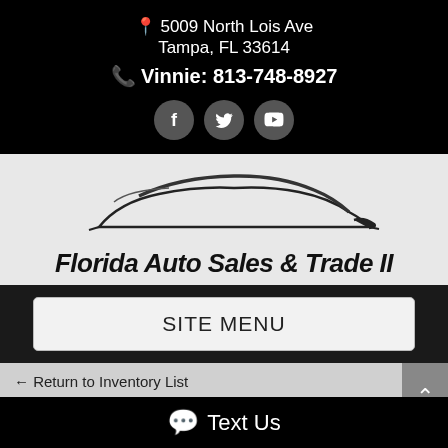📍 5009 North Lois Ave
Tampa, FL 33614
📞 Vinnie: 813-748-8927
[Figure (logo): Florida Auto Sales & Trade II car silhouette logo with italic bold text]
SITE MENU
← Return to Inventory List
~Custom Lifted Turbo Sahara~$17K In
Text Us